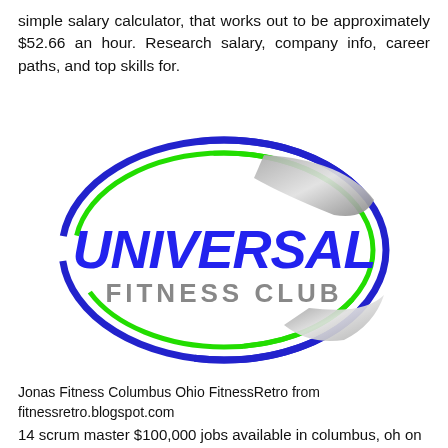simple salary calculator, that works out to be approximately $52.66 an hour. Research salary, company info, career paths, and top skills for.
[Figure (logo): Universal Fitness Club logo — an oval shape with blue and green border arcs and a gray swoosh, with bold blue italic text 'UNIVERSAL' and gray text 'FITNESS CLUB' inside.]
Jonas Fitness Columbus Ohio FitnessRetro from fitnessretro.blogspot.com
14 scrum master $100,000 jobs available in columbus, oh on